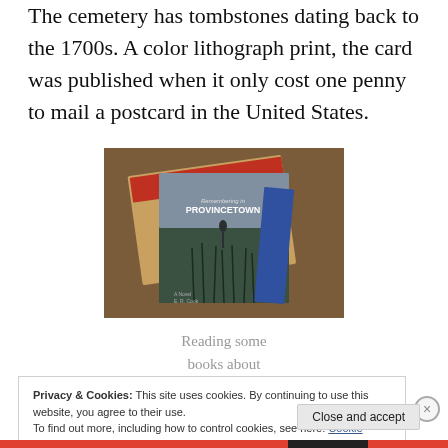The cemetery has tombstones dating back to the 1700s. A color lithograph print, the card was published when it only cost one penny to mail a postcard in the United States.
[Figure (photo): A photo of books on a wooden table, prominently showing a book titled 'Remembering in Provincetown' and a 'Times of Town' publication]
Reading some books about
Privacy & Cookies: This site uses cookies. By continuing to use this website, you agree to their use.
To find out more, including how to control cookies, see here: Cookie Policy